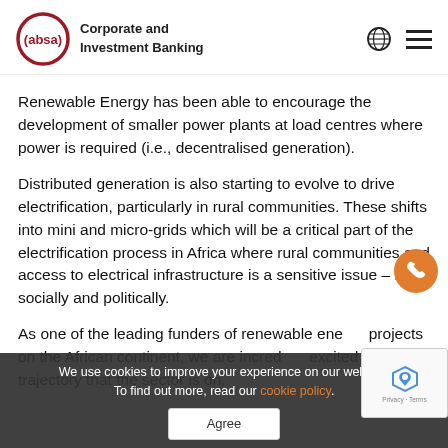Absa Corporate and Investment Banking
Renewable Energy has been able to encourage the development of smaller power plants at load centres where power is required (i.e., decentralised generation).
Distributed generation is also starting to evolve to drive electrification, particularly in rural communities. These shifts into mini and micro-grids which will be a critical part of the electrification process in Africa where rural communities and access to electrical infrastructure is a sensitive issue – both socially and politically.
As one of the leading funders of renewable energy projects on the African continent, we are incredibly excited about the trajectory that the sector is on.
We use cookies to improve your experience on our website. To find out more, read our cookie policy.